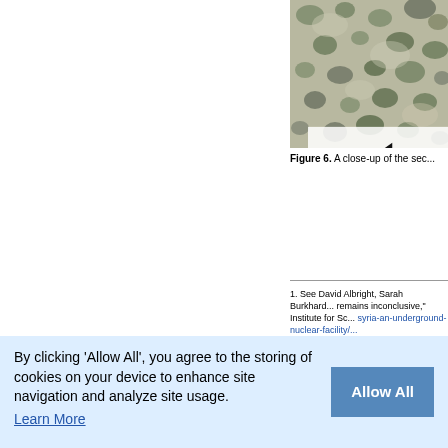[Figure (photo): Satellite/aerial close-up image showing terrain with darker cluster formations, with an arrow overlay pointing left with the letter Z]
Figure 6. A close-up of the sec...
1. See David Albright, Sarah Burkhard... remains inconclusive," Institute for Sc... syria-an-underground-nuclear-facility/...
2. It is worth noting that, also in Marc... videos showing the attack in progress...
3. Yochanan Vidoe, "New evidence... (link)
4. (partially obscured by cookie banner)
5. Israeli Defense Forces, "IDF Stri...
By clicking 'Allow All', you agree to the storing of cookies on your device to enhance site navigation and analyze site usage.
Learn More
Allow All